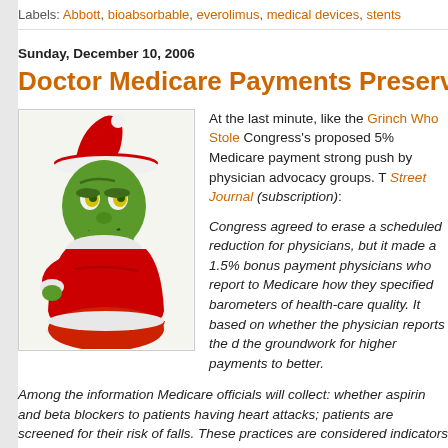Labels: Abbott, bioabsorbable, everolimus, medical devices, stents
Sunday, December 10, 2006
Doctor Medicare Payments Preserved
[Figure (illustration): Cartoon illustration of the Grinch dressed as Santa Claus, holding a red sack, with a yellow-eyed menacing expression and green skin, wearing a red Santa hat with white trim.]
At the last minute, like the Grinch Who Stole Congress's proposed 5% Medicare payment strong push by physician advocacy groups. T Street Journal (subscription):
Congress agreed to erase a scheduled reduction for physicians, but it made a 1.5% bonus payment physicians who report to Medicare how they specified barometers of health-care quality. It based on whether the physician reports the d the groundwork for higher payments to bette
Among the information Medicare officials will collect: whether physicians give aspirin and beta blockers to patients having heart attacks; and whether patients are screened for their risk of falls. These practices are considered indicators of good patient care.